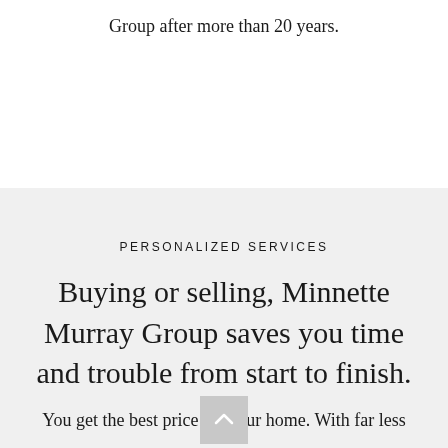Group after more than 20 years.
PERSONALIZED SERVICES
Buying or selling, Minnette Murray Group saves you time and trouble from start to finish.
You get the best price for your home. With far less